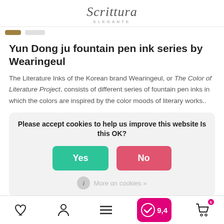Scrittura ELEGANTE
Yun Dong ju fountain pen ink series by Wearingeul
The Literature Inks of the Korean brand Wearingeul, or The Color of Literature Project, consists of different series of fountain pen inks in which the colors are inspired by the color moods of literary works..
Please accept cookies to help us improve this website Is this OK?
Yes  No
More on cookies »
♡  person  ≡  9,4  cart 0